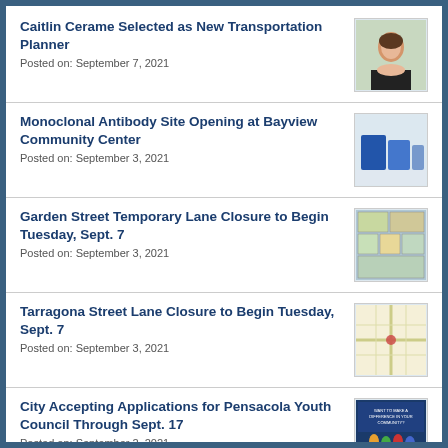Caitlin Cerame Selected as New Transportation Planner
Posted on: September 7, 2021
Monoclonal Antibody Site Opening at Bayview Community Center
Posted on: September 3, 2021
Garden Street Temporary Lane Closure to Begin Tuesday, Sept. 7
Posted on: September 3, 2021
Tarragona Street Lane Closure to Begin Tuesday, Sept. 7
Posted on: September 3, 2021
City Accepting Applications for Pensacola Youth Council Through Sept. 17
Posted on: September 2, 2021